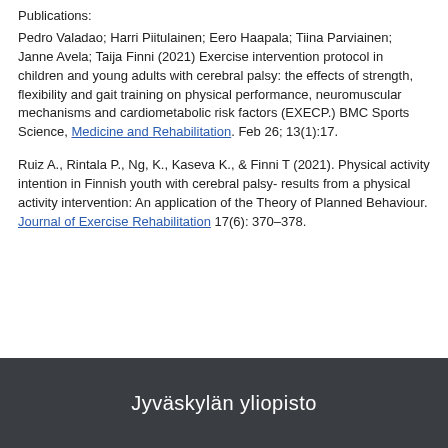Publications:
Pedro Valadao; Harri Piitulainen; Eero Haapala; Tiina Parviainen; Janne Avela; Taija Finni (2021) Exercise intervention protocol in children and young adults with cerebral palsy: the effects of strength, flexibility and gait training on physical performance, neuromuscular mechanisms and cardiometabolic risk factors (EXECP.) BMC Sports Science, Medicine and Rehabilitation. Feb 26; 13(1):17.
Ruiz A., Rintala P., Ng, K., Kaseva K., & Finni T (2021). Physical activity intention in Finnish youth with cerebral palsy- results from a physical activity intervention: An application of the Theory of Planned Behaviour. Journal of Exercise Rehabilitation 17(6): 370–378.
Jyväskylän yliopisto